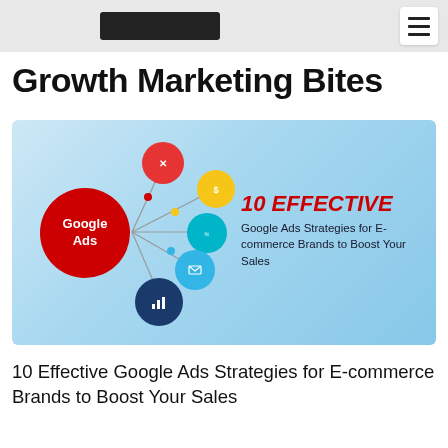Growth Marketing Bites — navigation header
Growth Marketing Bites
[Figure (infographic): Infographic showing Google Ads connected to 5 small colored circles (red, yellow, cyan, teal, navy) on a light blue gradient background. Right side text reads '10 EFFECTIVE Google Ads Strategies for E-commerce Brands to Boost Your Sales']
10 Effective Google Ads Strategies for E-commerce Brands to Boost Your Sales